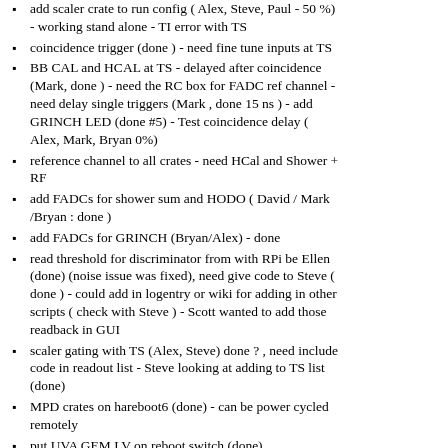add scaler crate to run config ( Alex, Steve, Paul - 50 %) - working stand alone - TI error with TS
coincidence trigger (done ) - need fine tune inputs at TS
BB CAL and HCAL at TS - delayed after coincidence (Mark, done ) - need the RC box for FADC ref channel - need delay single triggers (Mark , done 15 ns ) - add GRINCH LED (done #5) - Test coincidence delay ( Alex, Mark, Bryan 0%)
reference channel to all crates - need HCal and Shower + RF
add FADCs for shower sum and HODO ( David / Mark /Bryan : done )
add FADCs for GRINCH (Bryan/Alex) - done
read threshold for discriminator from with RPi be Ellen (done) (noise issue was fixed), need give code to Steve ( done ) - could add in logentry or wiki for adding in other scripts ( check with Steve ) - Scott wanted to add those readback in GUI
scaler gating with TS (Alex, Steve) done ? , need include code in readout list - Steve looking at adding to TS list (done)
MPD crates on hareboot6 (done) - can be power cycled remotely
put UVA GEM LV on reboot switch (done)
(new) Trigger latch TS to TDC ( Alex,Mark 0%) try F1 ?
or add extras gem crate, or hodoscope )